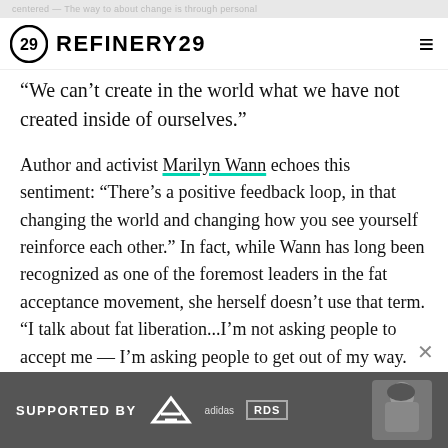REFINERY29
“We can’t create in the world what we have not created inside of ourselves.”
Author and activist Marilyn Wann echoes this sentiment: “There’s a positive feedback loop, in that changing the world and changing how you see yourself reinforce each other.” In fact, while Wann has long been recognized as one of the foremost leaders in the fat acceptance movement, she herself doesn’t use that term. “I talk about fat liberation...I’m not asking people to accept me — I’m asking people to get out of my way. And addressing internalized oppression is about liberation, too.”
[Figure (screenshot): Advertisement banner: SUPPORTED BY adidas and RDS logos with person wearing ski goggles]